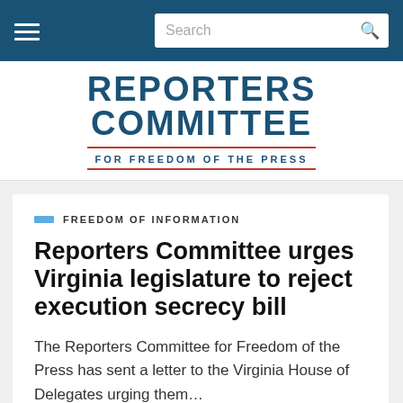[Figure (logo): Navigation bar with hamburger menu icon on left and search box on right, dark blue background]
[Figure (logo): Reporters Committee for Freedom of the Press logo — bold blue uppercase text with red double-line border around tagline]
FREEDOM OF INFORMATION
Reporters Committee urges Virginia legislature to reject execution secrecy bill
The Reporters Committee for Freedom of the Press has sent a letter to the Virginia House of Delegates urging them…